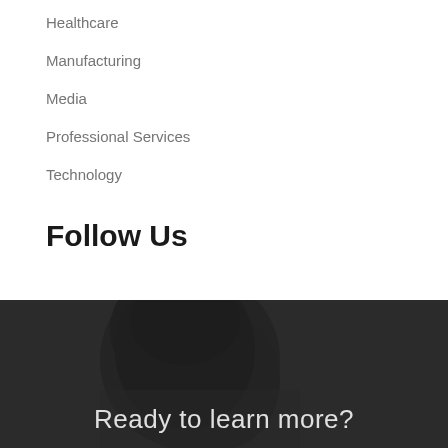Healthcare
Manufacturing
Media
Professional Services
Technology
Follow Us
[Figure (photo): Dark background image of a woman, overlaid with the text 'Ready to learn more?']